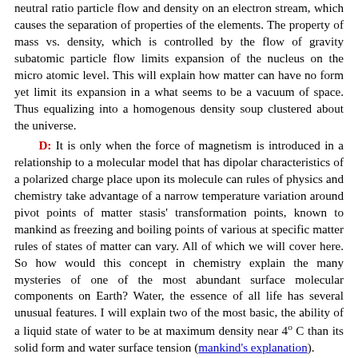neutral ratio particle flow and density on an electron stream, which causes the separation of properties of the elements. The property of mass vs. density, which is controlled by the flow of gravity subatomic particle flow limits expansion of the nucleus on the micro atomic level. This will explain how matter can have no form yet limit its expansion in a what seems to be a vacuum of space. Thus equalizing into a homogenous density soup clustered about the universe.
D: It is only when the force of magnetism is introduced in a relationship to a molecular model that has dipolar characteristics of a polarized charge place upon its molecule can rules of physics and chemistry take advantage of a narrow temperature variation around pivot points of matter stasis' transformation points, known to mankind as freezing and boiling points of various at specific matter rules of states of matter can vary. All of which we will cover here. So how would this concept in chemistry explain the many mysteries of one of the most abundant surface molecular components on Earth? Water, the essence of all life has several unusual features. I will explain two of the most basic, the ability of a liquid state of water to be at maximum density near 4° C than its solid form and water surface tension (mankind's explanation).
The dipolar characteristic of water molecules allows a new variable to be introduced. Where the relative state of matter in relation to the quantity of heat subatomic particles per defined